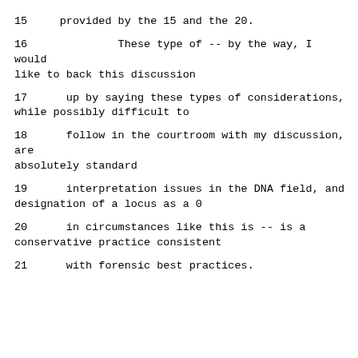15     provided by the 15 and the 20.
16              These type of -- by the way, I would like to back this discussion
17      up by saying these types of considerations, while possibly difficult to
18      follow in the courtroom with my discussion, are absolutely standard
19      interpretation issues in the DNA field, and designation of a locus as a 0
20      in circumstances like this is -- is a conservative practice consistent
21      with forensic best practices.